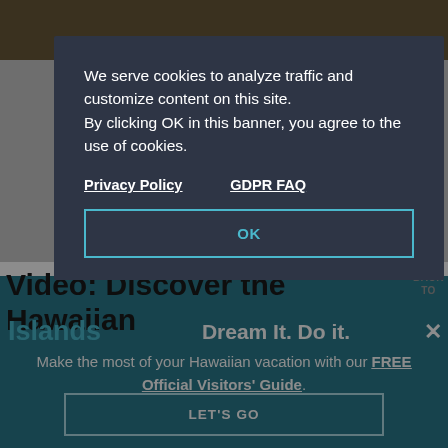[Figure (screenshot): Cookie consent modal overlay on a Hawaiian Islands tourism website. Dark navy modal with white text over a dimmed background. Shows cookie policy notice with Privacy Policy and GDPR FAQ links and an OK button. Below the modal is a partial page title 'Video: Discover the Hawaiian Islands' and a teal promotional banner reading 'Dream It. Do it.' with text about a free Official Visitors' Guide and a LET'S GO button.]
We serve cookies to analyze traffic and customize content on this site. By clicking OK in this banner, you agree to the use of cookies.
Privacy Policy   GDPR FAQ
OK
Video: Discover the Hawaiian Islands
BACK TO
Dream It. Do it.
Make the most of your Hawaiian vacation with our FREE Official Visitors' Guide.
LET'S GO